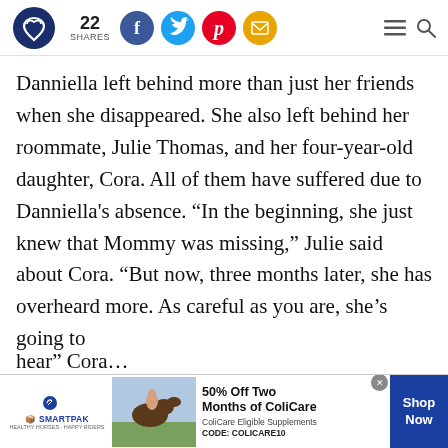22 SHARES [social icons: Facebook, Twitter, Pinterest, Email] [menu, search icons]
Danniella left behind more than just her friends when she disappeared. She also left behind her roommate, Julie Thomas, and her four-year-old daughter, Cora. All of them have suffered due to Danniella's absence. “In the beginning, she just knew that Mommy was missing,” Julie said about Cora. “But now, three months later, she has overheard more. As careful as you are, she’s going to [hear]”
[Figure (other): SmartPak advertisement banner: logo on left, image of horse and rider in field, text '50% Off Two Months of ColiCare, ColiCare Eligible Supplements, CODE: COLICARE10', blue 'Shop Now' button on right, close X button at top]